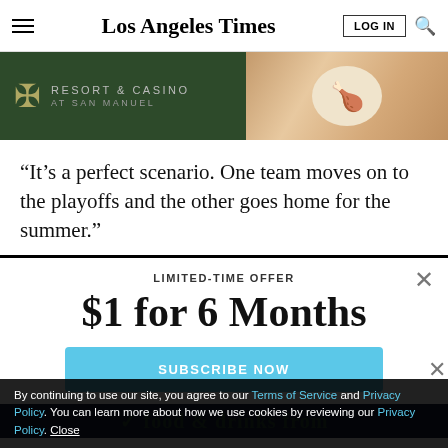Los Angeles Times
[Figure (photo): Advertisement banner for a Resort & Casino at San Manuel with food image on right side]
“It’s a perfect scenario. One team moves on to the playoffs and the other goes home for the summer.”
LIMITED-TIME OFFER
$1 for 6 Months
SUBSCRIBE NOW
By continuing to use our site, you agree to our Terms of Service and Privacy Policy. You can learn more about how we use cookies by reviewing our Privacy Policy. Close